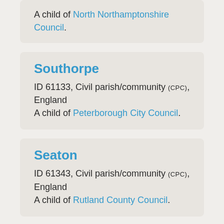A child of North Northamptonshire Council.
Southorpe
ID 61133, Civil parish/community (CPC), England
A child of Peterborough City Council.
Seaton
ID 61343, Civil parish/community (CPC), England
A child of Rutland County Council.
Yaxley
ID 61411, Civil parish/community (CPC)